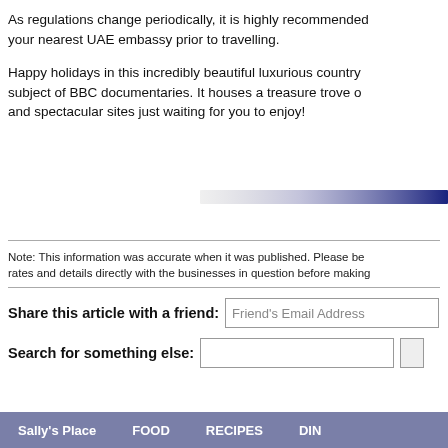As regulations change periodically, it is highly recommended... your nearest UAE embassy prior to travelling.
Happy holidays in this incredibly beautiful luxurious country... subject of BBC documentaries. It houses a treasure trove of... and spectacular sites just waiting for you to enjoy!
[Figure (other): Decorative horizontal bar fading from light grey/white on the left to dark navy blue on the right edge]
Note: This information was accurate when it was published. Please be... rates and details directly with the businesses in question before making...
Share this article with a friend: [Friend's Email Address input]
Search for something else: [search input box]
Sally's Place   FOOD   RECIPES   DIN